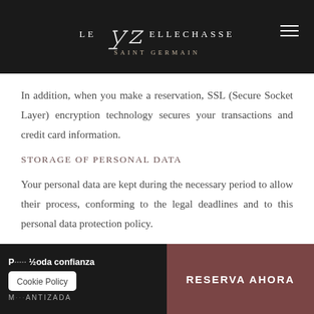LE BELLECHASSE SAINT GERMAIN
In addition, when you make a reservation, SSL (Secure Socket Layer) encryption technology secures your transactions and credit card information.
STORAGE OF PERSONAL DATA
Your personal data are kept during the necessary period to allow their process, conforming to the legal deadlines and to this personal data protection policy.
P... toda confianza | Cookie Policy | ...NTIZADA | RESERVA AHORA